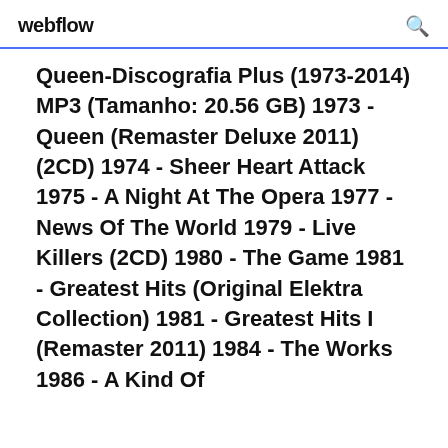webflow
Queen-Discografia Plus (1973-2014) MP3 (Tamanho: 20.56 GB) 1973 - Queen (Remaster Deluxe 2011) (2CD) 1974 - Sheer Heart Attack 1975 - A Night At The Opera 1977 - News Of The World 1979 - Live Killers (2CD) 1980 - The Game 1981 - Greatest Hits (Original Elektra Collection) 1981 - Greatest Hits I (Remaster 2011) 1984 - The Works 1986 - A Kind Of